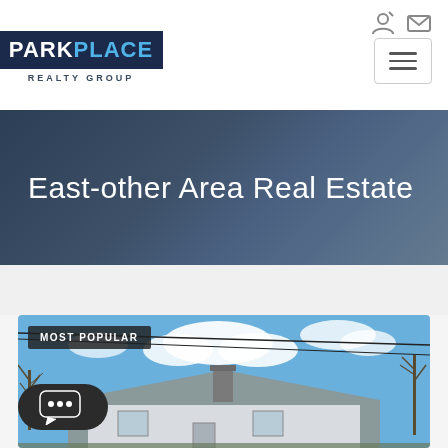[Figure (logo): Park Place Realty Group logo — dark navy box with PARK in white and PLACE in blue, REALTY GROUP subtitle below]
[Figure (screenshot): Navigation icons: login person icon and envelope/mail icon at top right]
[Figure (screenshot): Hamburger/menu button with three horizontal lines, bordered box]
East-other Area Real Estate
[Figure (photo): Residential house photograph showing roof, chimney, blue sky with clouds and bare trees. MOST POPULAR badge overlay in top-left corner.]
[Figure (screenshot): Chat bubble button (dark rounded pill shape with three white dots) in lower left corner]